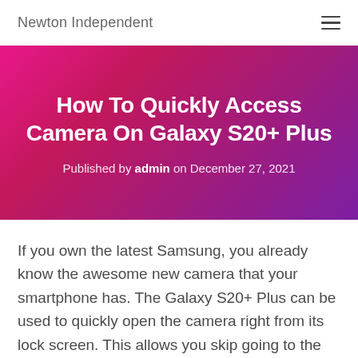Newton Independent
How To Quickly Access Camera On Galaxy S20+ Plus
Published by admin on December 27, 2021
If you own the latest Samsung, you already know the awesome new camera that your smartphone has. The Galaxy S20+ Plus can be used to quickly open the camera right from its lock screen. This allows you skip going to the home screen to access the Camera app. This advanced